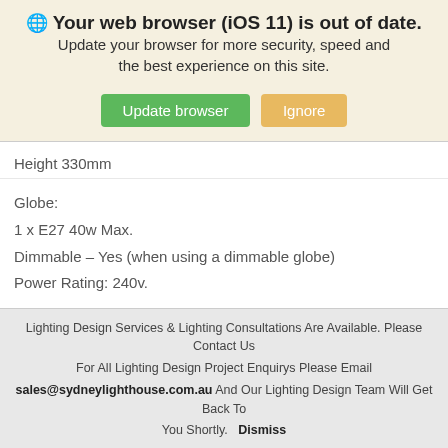🌐 Your web browser (iOS 11) is out of date. Update your browser for more security, speed and the best experience on this site.
Update browser  Ignore
Height 330mm
Globe:
1 x E27 40w Max.
Dimmable – Yes (when using a dimmable globe)
Power Rating: 240v.
Light bulbs are not included.
Lighting Design Services & Lighting Consultations Are Available. Please Contact Us For All Lighting Design Project Enquirys Please Email sales@sydneylighthouse.com.au And Our Lighting Design Team Will Get Back To You Shortly.  Dismiss